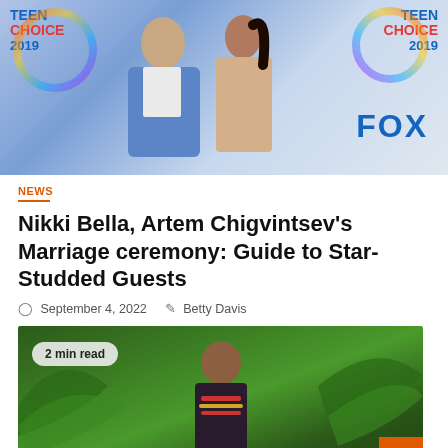[Figure (photo): Couple posing in front of Teen Choice 2019 / FOX backdrop, man in blue suit, woman in beige sequin outfit with long dark ponytail]
NEWS
Nikki Bella, Artem Chigvintsev's Marriage ceremony: Guide to Star-Studded Guests
September 4, 2022   Betty Davis
[Figure (photo): Man standing in front of tropical palm plants, wearing dark outfit with colorful necklace, with '2 min read' badge overlay]